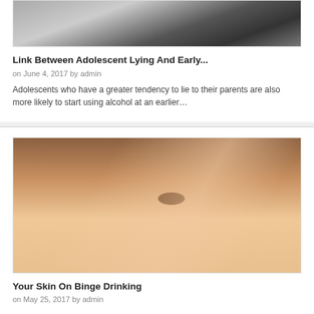[Figure (photo): Partial photo of a person wearing a dark/black top, cropped to show upper body area]
Link Between Adolescent Lying And Early...
on June 4, 2017 by admin
Adolescents who have a greater tendency to lie to their parents are also more likely to start using alcohol at an earlier…
[Figure (photo): Close-up photo of a woman with brown hair peeking through her fingers, with hands covering her face and one eye visible]
Your Skin On Binge Drinking
on May 25, 2017 by admin